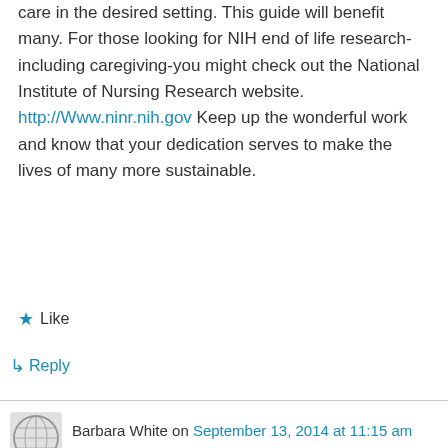care in the desired setting. This guide will benefit many. For those looking for NIH end of life research-including caregiving-you might check out the National Institute of Nursing Research website. http://Www.ninr.nih.gov Keep up the wonderful work and know that your dedication serves to make the lives of many more sustainable.
★ Like
↳ Reply
Barbara White on September 13, 2014 at 11:15 am
This sounds like a great book and much needed!
★ Like